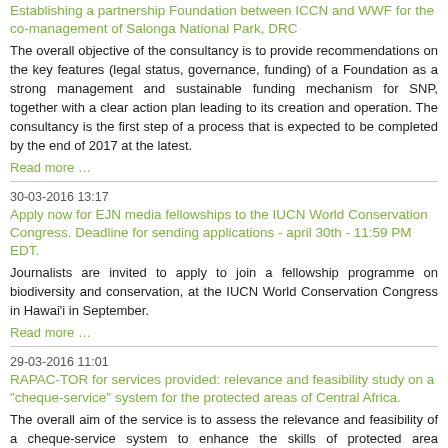Establishing a partnership Foundation between ICCN and WWF for the co-management of Salonga National Park, DRC
The overall objective of the consultancy is to provide recommendations on the key features (legal status, governance, funding) of a Foundation as a strong management and sustainable funding mechanism for SNP, together with a clear action plan leading to its creation and operation. The consultancy is the first step of a process that is expected to be completed by the end of 2017 at the latest.
Read more …
30-03-2016 13:17
Apply now for EJN media fellowships to the IUCN World Conservation Congress. Deadline for sending applications - april 30th - 11:59 PM EDT.
Journalists are invited to apply to join a fellowship programme on biodiversity and conservation, at the IUCN World Conservation Congress in Hawai'i in September.
Read more …
29-03-2016 11:01
RAPAC-TOR for services provided: relevance and feasibility study on a "cheque-service" system for the protected areas of Central Africa.
The overall aim of the service is to assess the relevance and feasibility of a cheque-service system to enhance the skills of protected area management teams located in RAPAC countries (RAPAC= Central Africa Protected Areas Network).
Read more …
28-03-2016 10:41
Health Project Manager, Democratic Republic of Congo. Conservation...